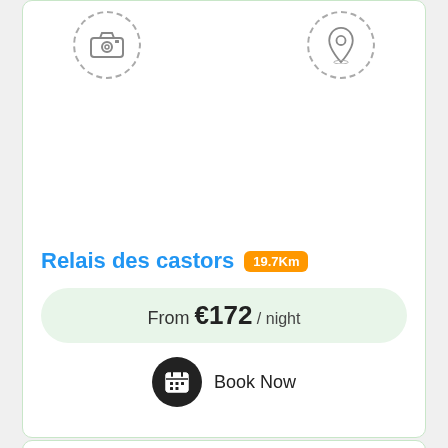[Figure (screenshot): Hotel/accommodation listing card showing icons for photo and location at top, property name 'Relais des castors' with distance badge '19.7Km', price 'From €172 / night', and 'Book Now' button with calendar icon]
Relais des castors 19.7Km
From €172 / night
Book Now
[Figure (screenshot): Second hotel/accommodation listing card partially visible, showing photo and location icons at top]